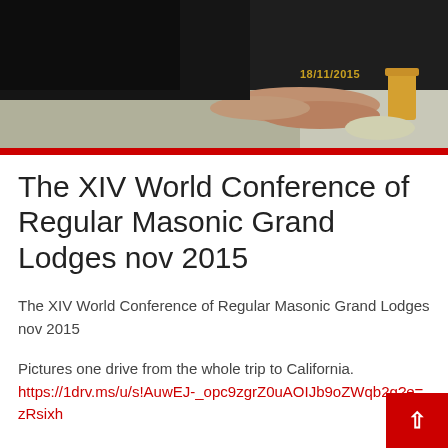[Figure (photo): Photograph of a person's hands on a table, dark clothing visible, with a timestamp '18/11/2015' in golden text at the bottom right of the image. A red horizontal bar separates the photo from the content below.]
The XIV World Conference of Regular Masonic Grand Lodges nov 2015
The XIV World Conference of Regular Masonic Grand Lodges nov 2015
Pictures one drive from the whole trip to California.
https://1drv.ms/u/s!AuwEJ-_opc9zgrZ0uAOIJb9oZWqb2g?e=zRsixh
-This conference is a rare opportunity for Masonic leaders, brothers from all parts of the globe to exchange